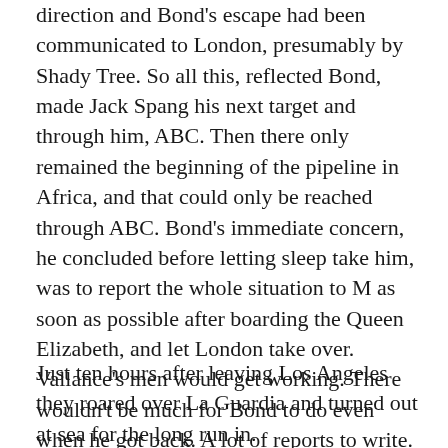direction and Bond's escape had been communicated to London, presumably by Shady Tree. So all this, reflected Bond, made Jack Spang his next target and through him, ABC. Then there only remained the beginning of the pipeline in Africa, and that could only be reached through ABC. Bond's immediate concern, he concluded before letting sleep take him, was to report the whole situation to M as soon as possible after boarding the Queen Elizabeth, and let London take over. Vallance's men would get working. There wouldn't be much for Bond to do even when he got back. A lot of reports to write. The same old routine at the office. And in the evenings there would be Tiffany in the spare room of his flat off the Kings Road. He would have to send a cable to May to get things fixed. Let's see-flowers, bath essence from Floris, air the sheets…
Just ten hours after leaving Los Angeles they roared over La Guardia and turned out at sea for the long run in.